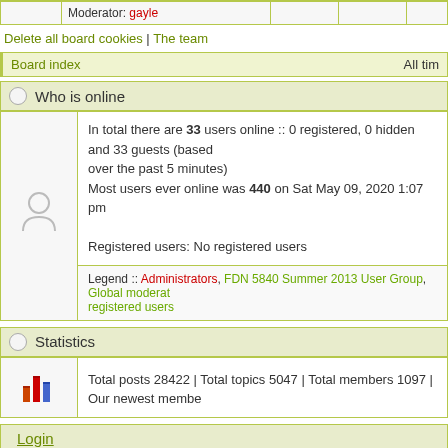Moderator: gayle
Delete all board cookies | The team
Board index   All tim
Who is online
In total there are 33 users online :: 0 registered, 0 hidden and 33 guests (based over the past 5 minutes)
Most users ever online was 440 on Sat May 09, 2020 1:07 pm

Registered users: No registered users
Legend :: Administrators, FDN 5840 Summer 2013 User Group, Global moderat registered users
Statistics
Total posts 28422 | Total topics 5047 | Total members 1097 | Our newest membe
Login
Username:  Password:  Log me on automatically eac
Unread posts   No unread posts   Forum locke
Powered by phpBB® Forum Software © phpBB Group
Designed by ST Software for PTF.